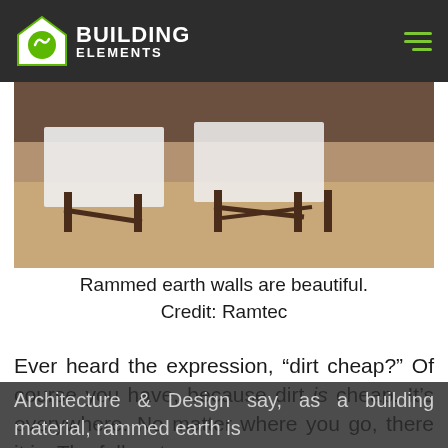Building Elements
[Figure (photo): Interior room showing wooden chairs/tables with white tablecloths against a rammed earth wall floor.]
Rammed earth walls are beautiful. Credit: Ramtec
Ever heard the expression, “dirt cheap?” Of course you have, because dirt is cheap. It’s everywhere. No matter where you go, there it is. The folks at
Architecture & Design say, as a building material, rammed earth is